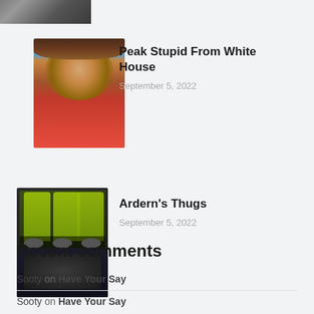[Figure (photo): Partially cropped thumbnail image at top left, showing text overlay on dark background, text reads 'NO BULL - AINT BEING C']
[Figure (photo): Thumbnail photo of a woman with curly hair wearing a red blazer, appears to be at a press briefing with blue circular logo in background]
Peak Stupid From White House
September 5, 2022
[Figure (photo): Thumbnail photo of multiple people in yellow high-visibility vests leaning over someone on the ground, appears to be police or security personnel]
Ardern's Thugs
September 5, 2022
Recent comments
Sooty on Have Your Say
Sooty on Have Your Say